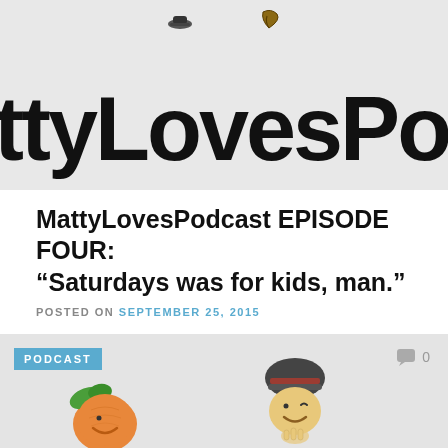[Figure (illustration): Top banner with MattyLovesPodcast logo text on grey background]
MattyLovesPodcast EPISODE FOUR: “Saturdays was for kids, man.”
POSTED ON SEPTEMBER 25, 2015
[Figure (illustration): Bottom podcast banner with orange character and person character cartoon illustrations, PODCAST badge, comment bubble with 0, and MattyLovesPodcast text]